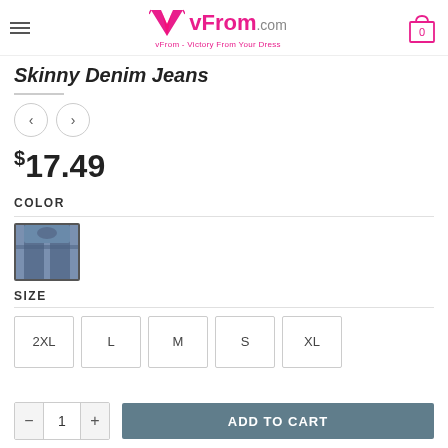vFrom.com — vFrom - Victory From Your Dress
Skinny Denim Jeans
$17.49
COLOR
[Figure (photo): Thumbnail image of skinny denim jeans, blue denim, person wearing them]
SIZE
2XL
L
M
S
XL
ADD TO CART